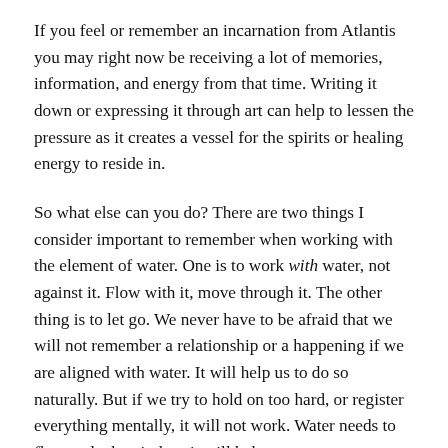If you feel or remember an incarnation from Atlantis you may right now be receiving a lot of memories, information, and energy from that time. Writing it down or expressing it through art can help to lessen the pressure as it creates a vessel for the spirits or healing energy to reside in.
So what else can you do? There are two things I consider important to remember when working with the element of water. One is to work with water, not against it. Flow with it, move through it. The other thing is to let go. We never have to be afraid that we will not remember a relationship or a happening if we are aligned with water. It will help us to do so naturally. But if we try to hold on too hard, or register everything mentally, it will not work. Water needs to flow and when it does it will help you to carry anything you need into the future, whether it be a memory, knowledge, or a relationship.